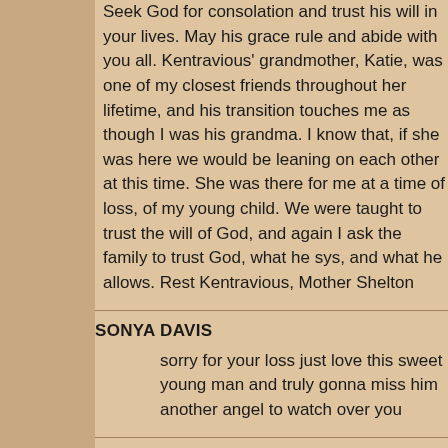Seek God for consolation and trust his will in your lives. May his grace rule and abide with you all. Kentravious' grandmother, Katie, was one of my closest friends throughout her lifetime, and his transition touches me as though I was his grandma. I know that, if she was here we would be leaning on each other at this time. She was there for me at a time of loss, of my young child. We were taught to trust the will of God, and again I ask the family to trust God, what he sys, and what he allows. Rest Kentravious, Mother Shelton
SONYA DAVIS
sorry for your loss just love this sweet young man and truly gonna miss him another angel to watch over you
JAN PEARSON
So sorry for your loss. God is in control.love yall.
ALLISON RUSSELL